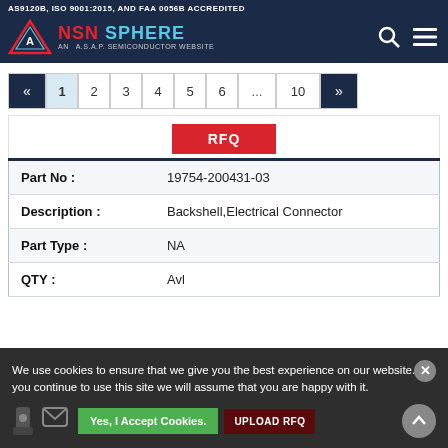AS9120B, ISO 9001:2015, AND FAA 0056B ACCREDITED
[Figure (logo): NSN Sphere logo - AN A.S.A.P. SEMICONDUCTOR WEBSITE]
« 1 2 3 4 5 6 ... 10 »
| Part No : | 19754-200431-03 |
| Description : | Backshell,Electrical Connector |
| Part Type : | NA |
| QTY : | Avl |
We use cookies to ensure that we give you the best experience on our website. If you continue to use this site we will assume that you are happy with it.